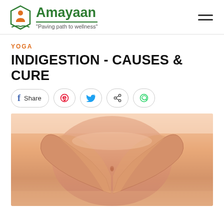Amayaan – "Paving path to wellness"
YOGA
INDIGESTION - CAUSES & CURE
[Figure (other): Social sharing buttons: Facebook Share, Pinterest, Twitter, Share, WhatsApp]
[Figure (photo): Hands forming a heart shape over a person's stomach/abdomen, representing digestive health and wellness]